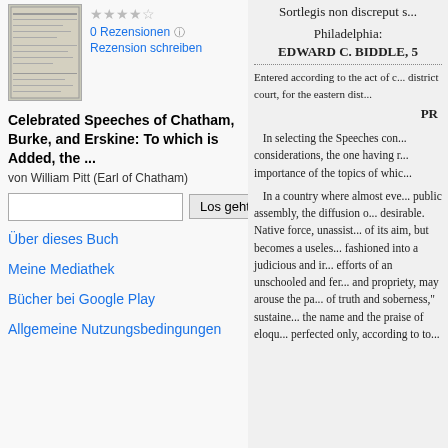[Figure (illustration): Book cover thumbnail image showing a bound book]
0 Rezensionen
Rezension schreiben
Celebrated Speeches of Chatham, Burke, and Erskine: To which is Added, the ...
von William Pitt (Earl of Chatham)
Los gehts!
Über dieses Buch
Meine Mediathek
Bücher bei Google Play
Allgemeine Nutzungsbedingungen
Philadelphia:
EDWARD C. BIDDLE, 5
Entered according to the act of c... district court, for the eastern dist...
PR
In selecting the Speeches con... considerations, the one having r... importance of the topics of whic...
In a country where almost eve... public assembly, the diffusion o... desirable. Native force, unassist... of its aim, but becomes a useles... fashioned into a judicious and ir... efforts of an unschooled and fer... and propriety, may arouse the pa... of truth and soberness," sustaine... the name and the praise of eloqu... perfected only, according to to...